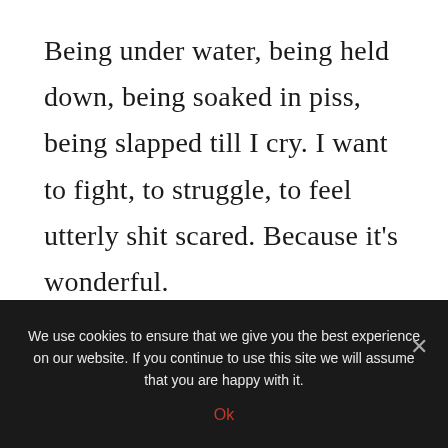Being under water, being held down, being soaked in piss, being slapped till I cry. I want to fight, to struggle, to feel utterly shit scared. Because it’s wonderful.
📳 Back to Story Library
We use cookies to ensure that we give you the best experience on our website. If you continue to use this site we will assume that you are happy with it.
Ok